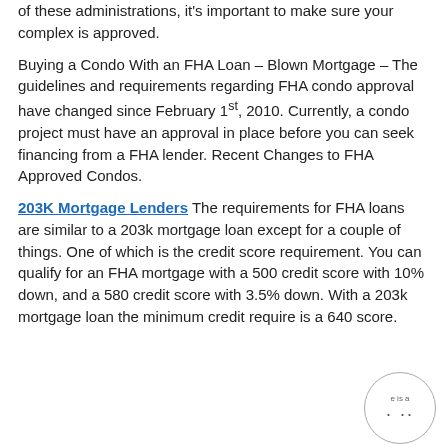of these administrations, it's important to make sure your complex is approved.
Buying a Condo With an FHA Loan – Blown Mortgage – The guidelines and requirements regarding FHA condo approval have changed since February 1st, 2010. Currently, a condo project must have an approval in place before you can seek financing from a FHA lender. Recent Changes to FHA Approved Condos.
203K Mortgage Lenders The requirements for FHA loans are similar to a 203k mortgage loan except for a couple of things. One of which is the credit score requirement. You can qualify for an FHA mortgage with a 500 credit score with 10% down, and a 580 credit score with 3.5% down. With a 203k mortgage loan the minimum credit require is a 640 score.